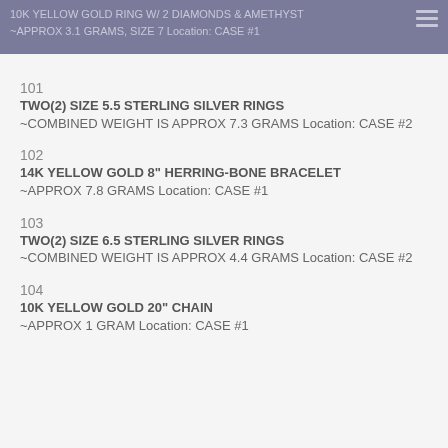10K YELLOW GOLD RING W/ 2 DIAMONDS & AMETHYST ~APPROX 3.1 GRAMS, SIZE 7 Location: CASE #1
101
TWO(2) SIZE 5.5 STERLING SILVER RINGS
~COMBINED WEIGHT IS APPROX 7.3 GRAMS Location: CASE #2
102
14K YELLOW GOLD 8" HERRING-BONE BRACELET
~APPROX 7.8 GRAMS Location: CASE #1
103
TWO(2) SIZE 6.5 STERLING SILVER RINGS
~COMBINED WEIGHT IS APPROX 4.4 GRAMS Location: CASE #2
104
10K YELLOW GOLD 20" CHAIN
~APPROX 1 GRAM Location: CASE #1